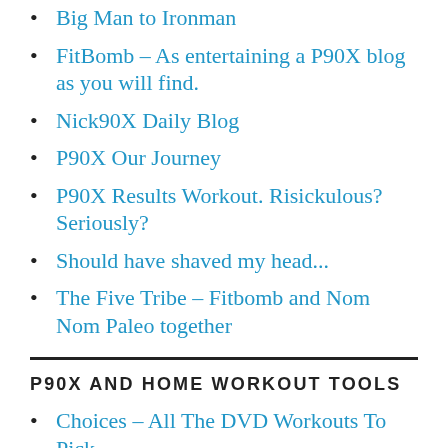Big Man to Ironman
FitBomb – As entertaining a P90X blog as you will find.
Nick90X Daily Blog
P90X Our Journey
P90X Results Workout. Risickulous? Seriously?
Should have shaved my head...
The Five Tribe – Fitbomb and Nom Nom Paleo together
P90X AND HOME WORKOUT TOOLS
Choices – All The DVD Workouts To Pick